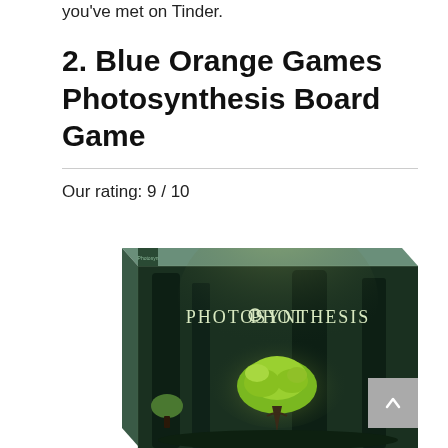you've met on Tinder.
2. Blue Orange Games Photosynthesis Board Game
Our rating: 9 / 10
[Figure (photo): Photo of Blue Orange Games Photosynthesis Board Game box showing a dark forest scene with glowing green tree and light rays, with PHOTOSYNTHESIS text on the front]
Scroll to top button with up arrow